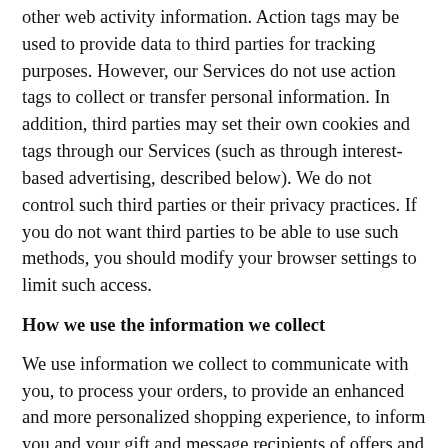other web activity information. Action tags may be used to provide data to third parties for tracking purposes. However, our Services do not use action tags to collect or transfer personal information. In addition, third parties may set their own cookies and tags through our Services (such as through interest-based advertising, described below). We do not control such third parties or their privacy practices. If you do not want third parties to be able to use such methods, you should modify your browser settings to limit such access.
How we use the information we collect
We use information we collect to communicate with you, to process your orders, to provide an enhanced and more personalized shopping experience, to inform you and your gift and message recipients of offers and discounts from the Company and our affiliates and to enable you to receive credits for purchases under any loyalty or buying programs which you may have joined. In addition, we may make such information available to